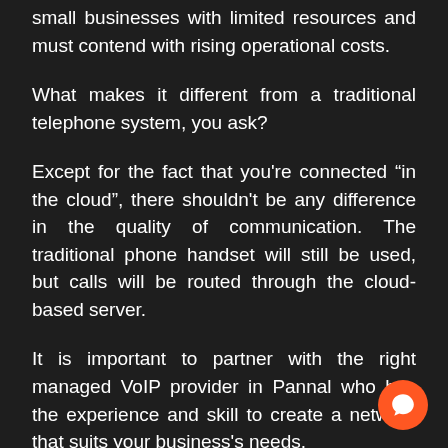small businesses with limited resources and must contend with rising operational costs.
What makes it different from a traditional telephone system, you ask?
Except for the fact that you're connected “in the cloud”, there shouldn't be any difference in the quality of communication. The traditional phone handset will still be used, but calls will be routed through the cloud-based server.
It is important to partner with the right managed VoIP provider in Pannal who has the experience and skill to create a network that suits your business's needs.
We are here to help.